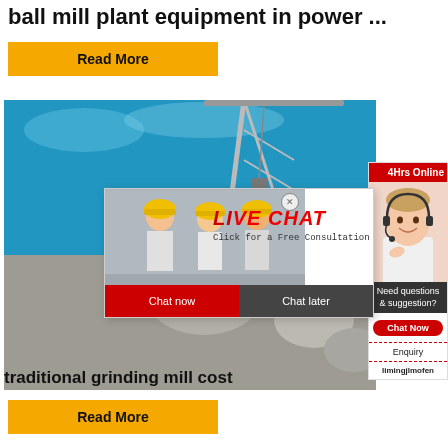ball mill plant equipment in power ...
Read More
[Figure (photo): Industrial site with workers in yellow hard hats, machinery and rubble pile against blue sky]
[Figure (screenshot): Live chat popup overlay with workers image, LIVE CHAT title in red italic, 'Click for a Free Consultation', Chat now and Chat later buttons]
[Figure (photo): Sidebar showing female call center agent with headset, red 24Hrs Online header, Need questions & suggestion section with Chat Now button, Enquiry link, limingjlmofen link]
traditional grinding mill cost
Read More